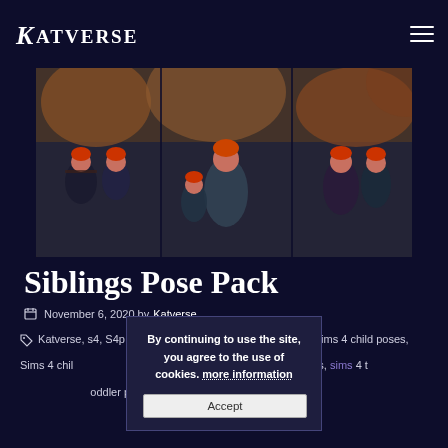KATVERSE
[Figure (photo): Group of Sims 4 child and toddler characters with red hair posing together outdoors with autumn foliage background, showing multiple poses]
Siblings Pose Pack
November 6, 2020 by Katverse
Katverse, s4, S4poses, Sims 4 cc, Sims 4 child poses, Sims 4 child content, Sims 4 kids poses, Sims 4 poses, sims 4 toddler poses, The Sims 4, ts4, ts4 in-game poses
By continuing to use the site, you agree to the use of cookies. more information
Accept